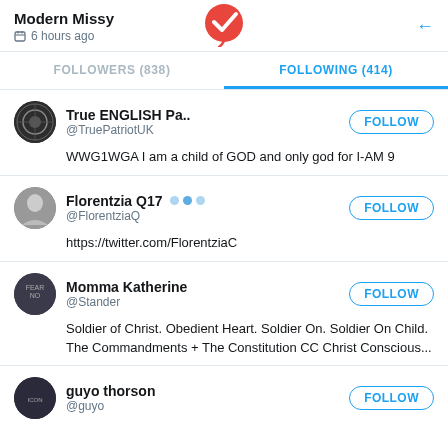Modern Missy · 6 hours ago
FOLLOWERS (838)   FOLLOWING (414)
True ENGLISH Pa.. @TruePatriotUK
WWG1WGA I am a child of GOD and only god for I-AM 9
Florentzia Q17 @FlorentziaQ
https://twitter.com/FlorentziaC
Momma Katherine @Stander
Soldier of Christ. Obedient Heart. Soldier On. Soldier On Child. The Commandments + The Constitution CC Christ Conscious...
guyo thorson @guyo